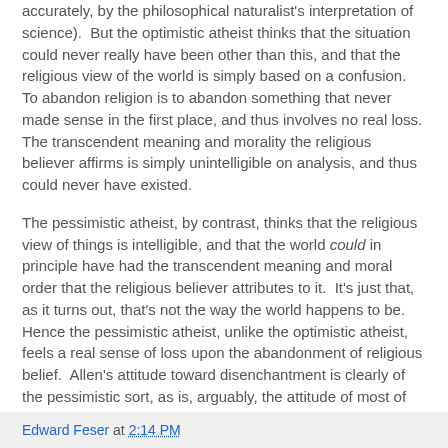accurately, by the philosophical naturalist's interpretation of science). But the optimistic atheist thinks that the situation could never really have been other than this, and that the religious view of the world is simply based on a confusion. To abandon religion is to abandon something that never made sense in the first place, and thus involves no real loss. The transcendent meaning and morality the religious believer affirms is simply unintelligible on analysis, and thus could never have existed.
The pessimistic atheist, by contrast, thinks that the religious view of things is intelligible, and that the world could in principle have had the transcendent meaning and moral order that the religious believer attributes to it. It's just that, as it turns out, that's not the way the world happens to be. Hence the pessimistic atheist, unlike the optimistic atheist, feels a real sense of loss upon the abandonment of religious belief. Allen's attitude toward disenchantment is clearly of the pessimistic sort, as is, arguably, the attitude of most of the best-known Old Atheists in general.
Edward Feser at 2:14 PM